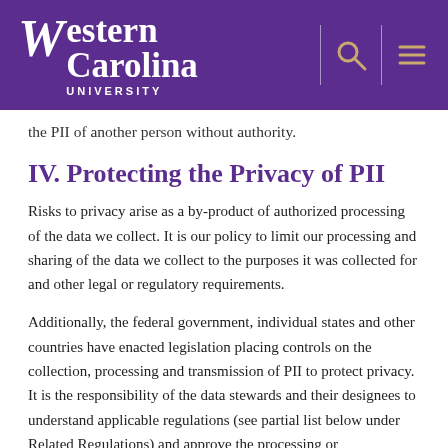Western Carolina University
the PII of another person without authority.
IV. Protecting the Privacy of PII
Risks to privacy arise as a by-product of authorized processing of the data we collect. It is our policy to limit our processing and sharing of the data we collect to the purposes it was collected for and other legal or regulatory requirements.
Additionally, the federal government, individual states and other countries have enacted legislation placing controls on the collection, processing and transmission of PII to protect privacy. It is the responsibility of the data stewards and their designees to understand applicable regulations (see partial list below under Related Regulations) and approve the processing or